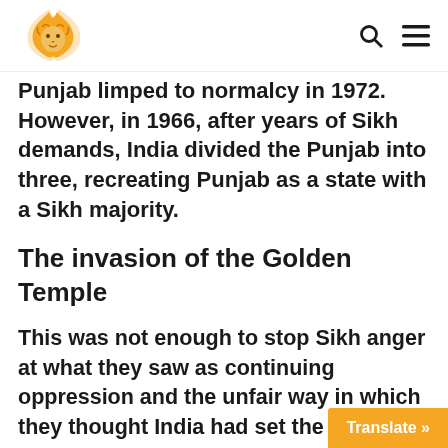[Logo] [Search icon] [Menu icon]
Punjab limped to normalcy in 1972. However, in 1966, after years of Sikh demands, India divided the Punjab into three, recreating Punjab as a state with a Sikh majority.
The invasion of the Golden Temple
This was not enough to stop Sikh anger at what they saw as continuing oppression and the unfair way in which they thought India had set the boundaries of the new state. They continued to demand various concessions from the Indian government, which resulted in Operation B…